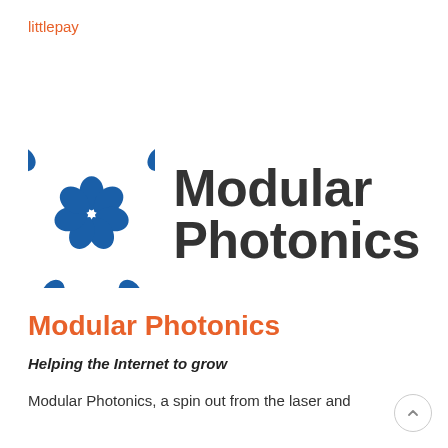littlepay
[Figure (logo): Modular Photonics logo: blue flower-like icon made of rounded petal shapes arranged in a circle, next to bold dark text reading 'Modular Photonics' in two lines]
Modular Photonics
Helping the Internet to grow
Modular Photonics, a spin out from the laser and photonics research group at Macquarie University,